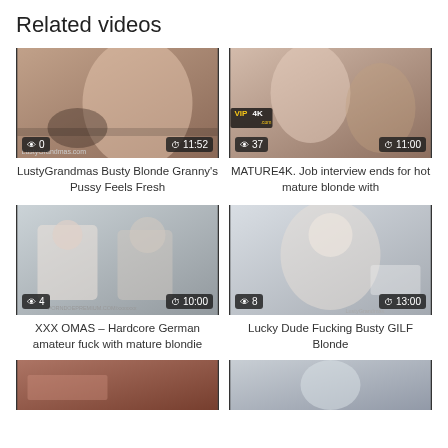Related videos
[Figure (screenshot): Video thumbnail 1: LustyGrandmas video with view count 0 and duration 11:52]
LustyGrandmas Busty Blonde Granny's Pussy Feels Fresh
[Figure (screenshot): Video thumbnail 2: VIP4K video with view count 37 and duration 11:00]
MATURE4K. Job interview ends for hot mature blonde with
[Figure (screenshot): Video thumbnail 3: PornDoePremiun video with view count 4 and duration 10:00]
XXX OMAS – Hardcore German amateur fuck with mature blondie
[Figure (screenshot): Video thumbnail 4: Video with view count 8 and duration 13:00]
Lucky Dude Fucking Busty GILF Blonde
[Figure (screenshot): Video thumbnail 5: Partially visible thumbnail at the bottom]